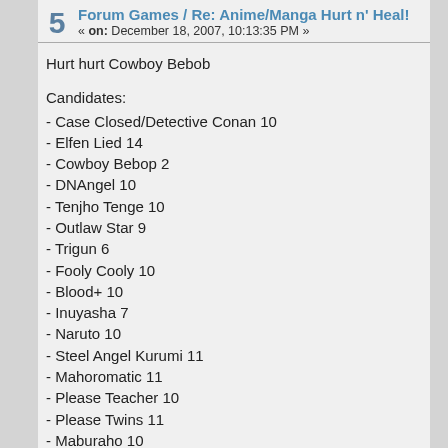5 Forum Games / Re: Anime/Manga Hurt n' Heal! « on: December 18, 2007, 10:13:35 PM »
Hurt hurt Cowboy Bebob
Candidates:
- Case Closed/Detective Conan 10
- Elfen Lied 14
- Cowboy Bebop 2
- DNAngel 10
- Tenjho Tenge 10
- Outlaw Star 9
- Trigun 6
- Fooly Cooly 10
- Blood+ 10
- Inuyasha 7
- Naruto 10
- Steel Angel Kurumi 11
- Mahoromatic 11
- Please Teacher 10
- Please Twins 11
- Maburaho 10
- Full Metal Alchemist 10
- Berserk 8
- Lone Hina 10
- Vampire Knights 10
- Tsubasa 9
- Sailor Moon 10
- Lucky Star 10
Dead Zone: